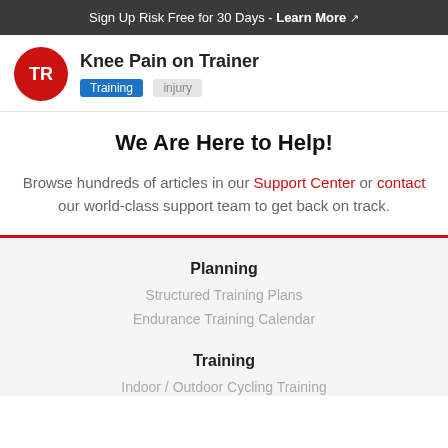Sign Up Risk Free for 30 Days - Learn More ↗
Knee Pain on Trainer
Training  injury
We Are Here to Help!
Browse hundreds of articles in our Support Center or contact our world-class support team to get back on track.
Planning
Structured Training Plans
Endurance Training Calendar
Training
Indoor / Outdoor Cycling Training